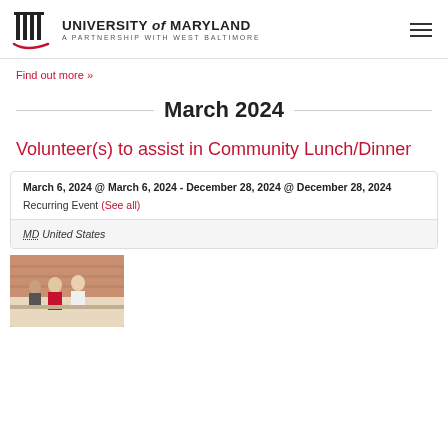University of Maryland — A Partnership with West Baltimore
Find out more »
March 2024
Volunteer(s) to assist in Community Lunch/Dinner
| March 6, 2024 @ March 6, 2024 - December 28, 2024 @ December 28, 2024 |
| Recurring Event (See all) |
| MD United States |
[Figure (photo): Photo of people at a community lunch/dinner event, showing volunteers serving food indoors]